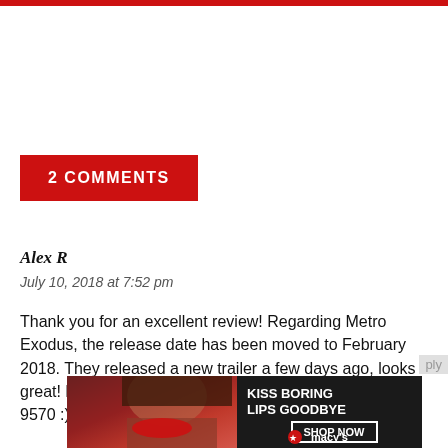2 COMMENTS
Alex R
July 10, 2018 at 7:52 pm
Thank you for an excellent review! Regarding Metro Exodus, the release date has been moved to February 2018. They released a new trailer a few days ago, looks great! Looking forward to playing (on my new Dell XPS 9570 :)
[Figure (photo): Advertisement banner: Kiss Boring Lips Goodbye - Macy's cosmetics ad with woman wearing red lipstick and Shop Now button]